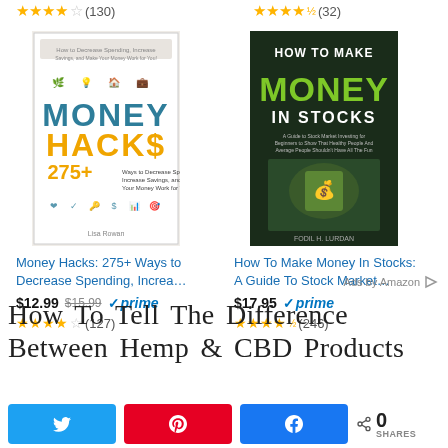[Figure (other): Amazon ad: Money Hacks book cover with star rating (130 reviews), price $12.99 (was $15.99), prime badge, 4-star rating (127 reviews)]
[Figure (other): Amazon ad: How To Make Money In Stocks book cover with star rating (32 reviews), price $17.95, prime badge, 4.5-star rating (246 reviews)]
Ads by Amazon
How To Tell The Difference Between Hemp & CBD Products
0 SHARES (social share bar with Twitter, Pinterest, Facebook buttons)